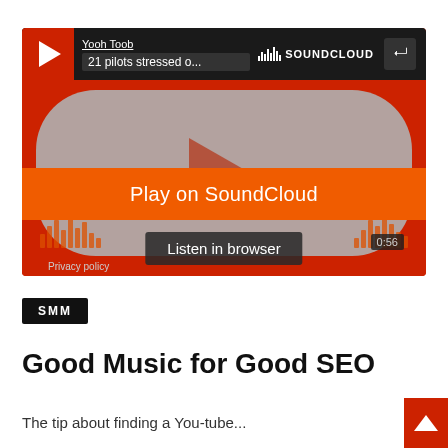[Figure (screenshot): SoundCloud embedded widget showing a track by Yooh Toob titled '21 pilots stressed o...' with a Play on SoundCloud button and Listen in browser button, on a red background with gray rounded album art area.]
SMM
Good Music for Good SEO
The tip about finding a You-tube...